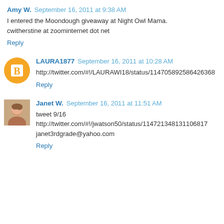Amy W. September 16, 2011 at 9:38 AM
I entered the Moondough giveaway at Night Owl Mama. cwitherstine at zoominternet dot net
Reply
LAURA1877 September 16, 2011 at 10:28 AM
http://twitter.com/#!/LAURAWI18/status/114705892586426368
Reply
Janet W. September 16, 2011 at 11:51 AM
tweet 9/16
http://twitter.com/#!/jwatson50/status/114721348131106817
janet3rdgrade@yahoo.com
Reply